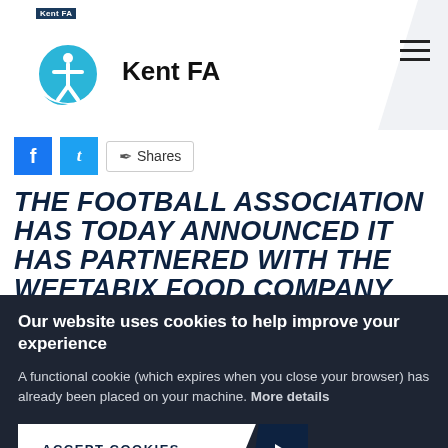Kent FA
Shares
THE FOOTBALL ASSOCIATION HAS TODAY ANNOUNCED IT HAS PARTNERED WITH THE WEETABIX FOOD COMPANY TO ENCOURAGE THE NATION TO EMBRACE HEALTHY CHOICES THROUGH THEIR NEW (STAR...
Our website uses cookies to help improve your experience
A functional cookie (which expires when you close your browser) has already been placed on your machine. More details
ACCEPT COOKIES